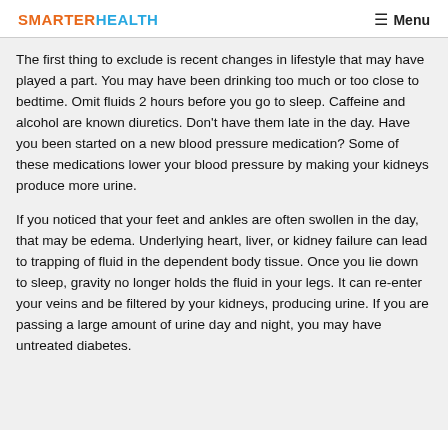SMARTER HEALTH   Menu
The first thing to exclude is recent changes in lifestyle that may have played a part. You may have been drinking too much or too close to bedtime. Omit fluids 2 hours before you go to sleep. Caffeine and alcohol are known diuretics. Don't have them late in the day. Have you been started on a new blood pressure medication? Some of these medications lower your blood pressure by making your kidneys produce more urine.
If you noticed that your feet and ankles are often swollen in the day, that may be edema. Underlying heart, liver, or kidney failure can lead to trapping of fluid in the dependent body tissue. Once you lie down to sleep, gravity no longer holds the fluid in your legs. It can re-enter your veins and be filtered by your kidneys, producing urine. If you are passing a large amount of urine day and night, you may have untreated diabetes.